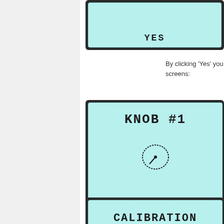[Figure (screenshot): Device screen showing 'YES' button in pixel/monospace font on light blue background with dark border]
By clicking 'Yes' you will get the following screens:
[Figure (screenshot): Device screen showing 'KNOB #1' title in pixel font and a knob dial indicator circle on light blue background]
[Figure (screenshot): Device screen showing 'CALIBRATION' text partially visible at bottom of page on light blue background]